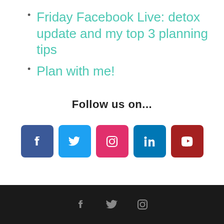Friday Facebook Live: detox update and my top 3 planning tips
Plan with me!
Follow us on...
[Figure (infographic): Row of 5 social media icon buttons: Facebook (blue), Twitter (light blue), Instagram (pink/red), LinkedIn (blue), YouTube (dark red)]
Footer bar with Facebook, Twitter, Instagram icons in dark gray